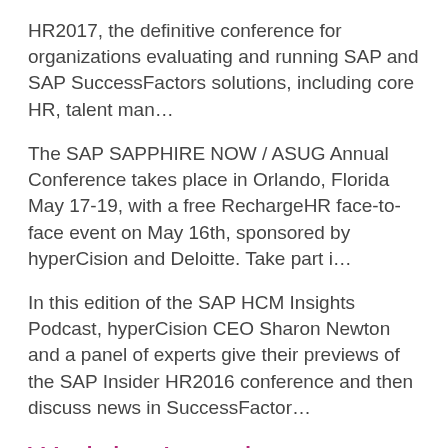HR2017, the definitive conference for organizations evaluating and running SAP and SAP SuccessFactors solutions, including core HR, talent man…
The SAP SAPPHIRE NOW / ASUG Annual Conference takes place in Orlando, Florida May 17-19, with a free RechargeHR face-to-face event on May 16th, sponsored by hyperCision and Deloitte. Take part i…
In this edition of the SAP HCM Insights Podcast, hyperCision CEO Sharon Newton and a panel of experts give their previews of the SAP Insider HR2016 conference and then discuss news in SuccessFactor…
Workday Learning announcement: How will this impact the LMS market?
by Joelle Smith in SAP ERP Human Capital Management (SAP ERP HCM) Workday has